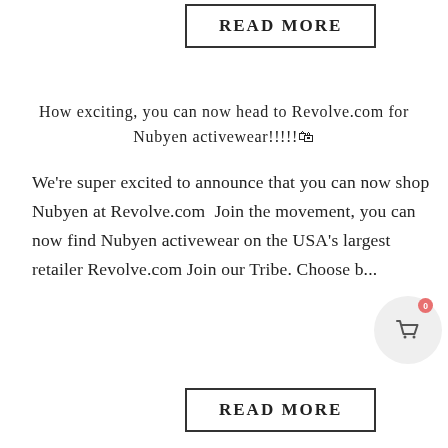READ MORE
How exciting, you can now head to Revolve.com for Nubyen activewear!!!!!🛍
We're super excited to announce that you can now shop Nubyen at Revolve.com  Join the movement, you can now find Nubyen activewear on the USA's largest retailer Revolve.com Join our Tribe. Choose b...
READ MORE
Nubyen is coming to Australia
We're so excited to announce that we'll be partnering with Iconic Australia in 2020. This will mean that more of our newer workout clothes will more readily accessible to our